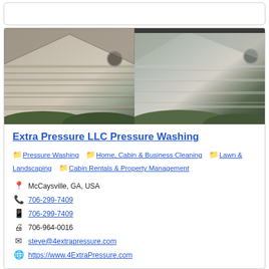[Figure (photo): Before and after comparison photo of pressure washed building exterior siding, showing dirty siding on the left and clean siding on the right, with hedges at the bottom and roof vents visible]
Extra Pressure LLC Pressure Washing
Pressure Washing
Home, Cabin & Business Cleaning
Lawn & Landscaping
Cabin Rentals & Property Management
McCaysville, GA, USA
706-299-7409
706-299-7409
706-964-0016
steve@4extrapressure.com
https://www.4ExtraPressure.com